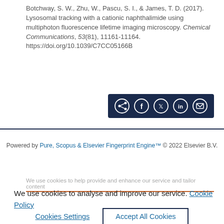Botchway, S. W., Zhu, W., Pascu, S. I., & James, T. D. (2017). Lysosomal tracking with a cationic naphthalimide using multiphoton fluorescence lifetime imaging microscopy. Chemical Communications, 53(81), 11161-11164. https://doi.org/10.1039/C7CC05166B
[Figure (other): Social share button bar with icons for share, Facebook, Twitter, LinkedIn, and email on dark navy background]
Powered by Pure, Scopus & Elsevier Fingerprint Engine™ © 2022 Elsevier B.V.
We use cookies to help provide and enhance our service and tailor content
We use cookies to analyse and improve our service. Cookie Policy
Cookies Settings    Accept All Cookies